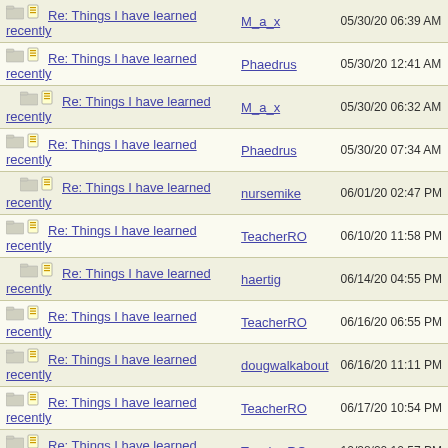| Topic | Author | Date |
| --- | --- | --- |
| Re: Things I have learned recently | M_a_x | 05/30/20 06:39 AM |
| Re: Things I have learned recently | Phaedrus | 05/30/20 12:41 AM |
| Re: Things I have learned recently | M_a_x | 05/30/20 06:32 AM |
| Re: Things I have learned recently | Phaedrus | 05/30/20 07:34 AM |
| Re: Things I have learned recently | nursemike | 06/01/20 02:47 PM |
| Re: Things I have learned recently | TeacherRO | 06/10/20 11:58 PM |
| Re: Things I have learned recently | haertig | 06/14/20 04:55 PM |
| Re: Things I have learned recently | TeacherRO | 06/16/20 06:55 PM |
| Re: Things I have learned recently | dougwalkabout | 06/16/20 11:11 PM |
| Re: Things I have learned recently | TeacherRO | 06/17/20 10:54 PM |
| Re: Things I have learned recently | TeacherRO | 10/28/20 10:57 PM |
| Re: Things I have learned recently |  |  |